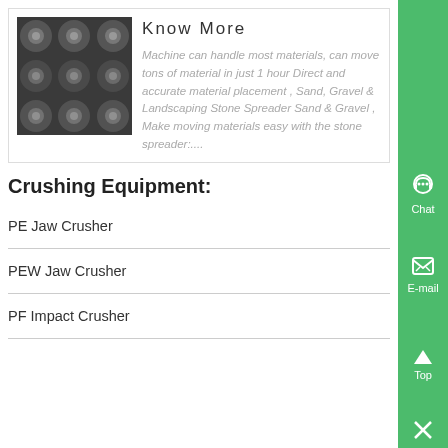[Figure (photo): Photo of metal wheel/disc components arranged in a grid pattern, dark industrial machinery parts]
Know More
Machine can handle most materials, can move tons of material in just 1 hour Direct and accurate material placement , Sand, Gravel & Landscaping Stone Spreader Sand & Gravel , Make moving materials easy with the stone spreader:....
Crushing Equipment:
PE Jaw Crusher
PEW Jaw Crusher
PF Impact Crusher